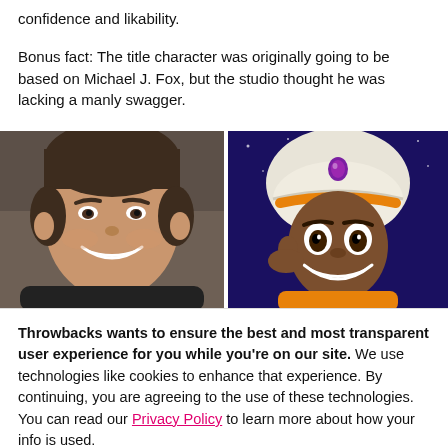confidence and likability.
Bonus fact: The title character was originally going to be based on Michael J. Fox, but the studio thought he was lacking a manly swagger.
[Figure (photo): Two side-by-side photos: left shows a smiling man (Tom Cruise) with brown hair; right shows the animated Disney character Aladdin wearing a white turban with a red gem, smiling.]
Throwbacks wants to ensure the best and most transparent user experience for you while you're on our site. We use technologies like cookies to enhance that experience. By continuing, you are agreeing to the use of these technologies. You can read our Privacy Policy to learn more about how your info is used.
I AGREE, LET'S GO!